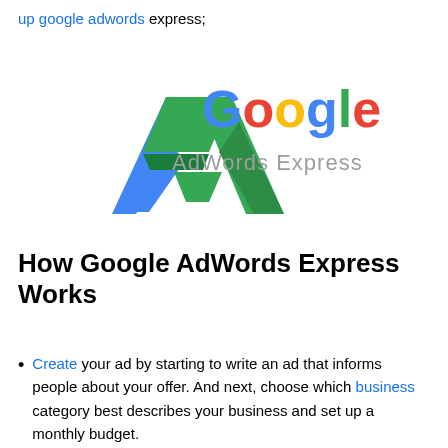up google adwords express;
[Figure (logo): Google AdWords Express logo with blue and green stylized 'A' chevron icon and multicolor 'Google' text above 'AdWords Express' in grey]
How Google AdWords Express Works
Create your ad by starting to write an ad that informs people about your offer. And next, choose which business category best describes your business and set up a monthly budget.